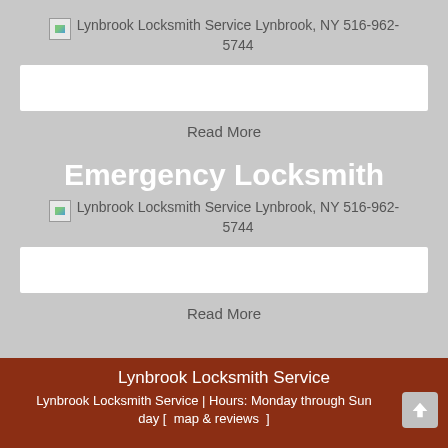[Figure (photo): Broken image placeholder with alt text: Lynbrook Locksmith Service Lynbrook, NY 516-962-5744]
[Figure (other): White input/search bar]
Read More
Emergency Locksmith
[Figure (photo): Broken image placeholder with alt text: Lynbrook Locksmith Service Lynbrook, NY 516-962-5744]
[Figure (other): White input/search bar]
Read More
Lynbrook Locksmith Service
Lynbrook Locksmith Service | Hours: Monday through Sunday [ map & reviews ]